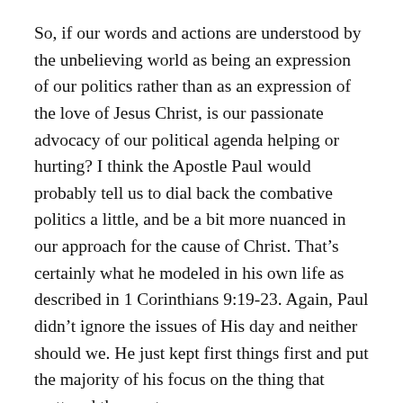So, if our words and actions are understood by the unbelieving world as being an expression of our politics rather than as an expression of the love of Jesus Christ, is our passionate advocacy of our political agenda helping or hurting? I think the Apostle Paul would probably tell us to dial back the combative politics a little, and be a bit more nuanced in our approach for the cause of Christ. That's certainly what he modeled in his own life as described in 1 Corinthians 9:19-23. Again, Paul didn't ignore the issues of His day and neither should we. He just kept first things first and put the majority of his focus on the thing that mattered the most.
The question isn't whether or not we should be trying to influence the outcome of issues in favor of Biblical principles – of course we should. The question is the best way to accomplish that. This is vitally important because in